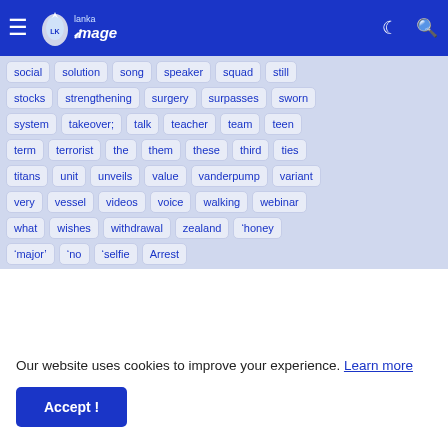Lanka Image
social  solution  song  speaker  squad  still
stocks  strengthening  surgery  surpasses  sworn
system  takeover;  talk  teacher  team  teen
term  terrorist  the  them  these  third  ties
titans  unit  unveils  value  vanderpump  variant
very  vessel  videos  voice  walking  webinar
what  wishes  withdrawal  zealand  &#8216;honey
&#8216;major&#8217;  &#8216;no  &#8216;selfie  Arrest
Our website uses cookies to improve your experience. Learn more
Accept !